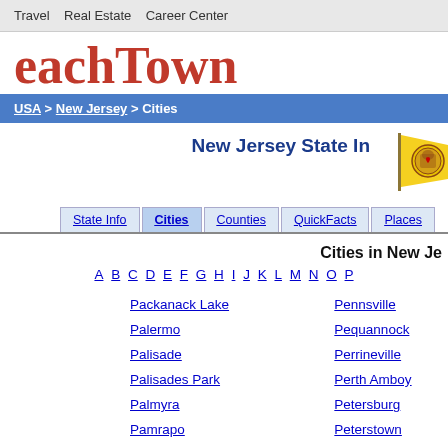Travel   Real Estate   Career Center
eachTown
USA > New Jersey > Cities
New Jersey State In
[Figure (illustration): New Jersey state flag - yellow flag with state seal]
State Info  Cities  Counties  QuickFacts  Places
Cities in New Je
A B C D E F G H I J K L M N O P
Packanack Lake
Pennsville
Palermo
Pequannock
Palisade
Perrineville
Palisades Park
Perth Amboy
Palmyra
Petersburg
Pamrapo
Peterstown
Paradise Lakes
Phalanx